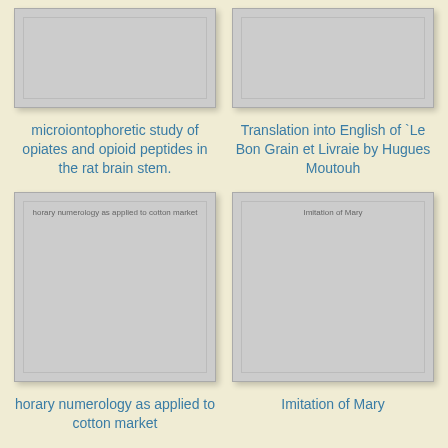[Figure (illustration): Book cover placeholder - gray rectangle with inner border]
[Figure (illustration): Book cover placeholder - gray rectangle with inner border]
microiontophoretic study of opiates and opioid peptides in the rat brain stem.
Translation into English of `Le Bon Grain et Livraie by Hugues Moutouh
[Figure (illustration): Book cover placeholder - gray rectangle with inner border and text: horary numerology as applied to cotton market]
[Figure (illustration): Book cover placeholder - gray rectangle with inner border and text: Imitation of Mary]
horary numerology as applied to cotton market
Imitation of Mary